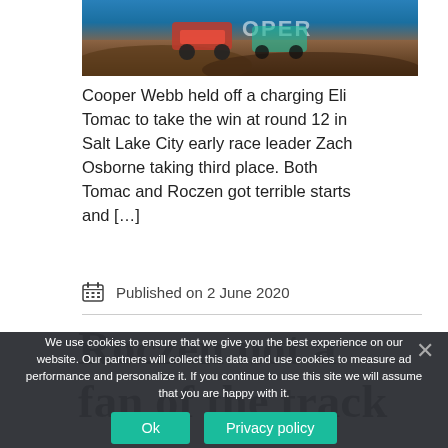[Figure (photo): Motocross racing photo showing riders on dirt bikes, COOPER branding visible in background]
Cooper Webb held off a charging Eli Tomac to take the win at round 12 in Salt Lake City early race leader Zach Osborne taking third place. Both Tomac and Roczen got terrible starts and […]
Published on 2 June 2020
Roczen not a fan of the track
We use cookies to ensure that we give you the best experience on our website. Our partners will collect this data and use cookies to measure ad performance and personalize it. If you continue to use this site we will assume that you are happy with it.
Ok
Privacy policy